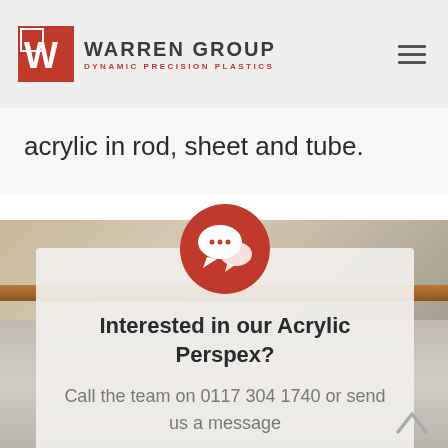WARREN GROUP — DYNAMIC PRECISION PLASTICS
acrylic in rod, sheet and tube.
[Figure (photo): Interior room photo showing a countertop or reception desk area with tiled ceiling and wall panels]
Interested in our Acrylic Perspex?
Call the team on 0117 304 1740 or send us a message